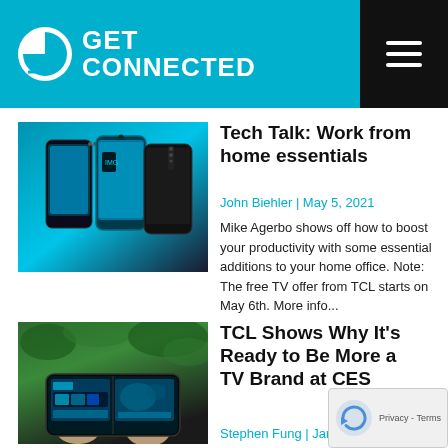GET CONNECTED
[Figure (photo): Two smartphones displayed against a blue gradient background]
Tech Talk: Work from home essentials
John Biehler | May 5, 2021
Mike Agerbo shows off how to boost your productivity with some essential additions to your home office. Note: The free TV offer from TCL starts on May 6th. More info...
[Figure (photo): Hands holding a foldable or multi-screen device with greenery background]
TCL Shows Why It's Ready to Be More a TV Brand at CES
Stephen Fung | January 14, 2021